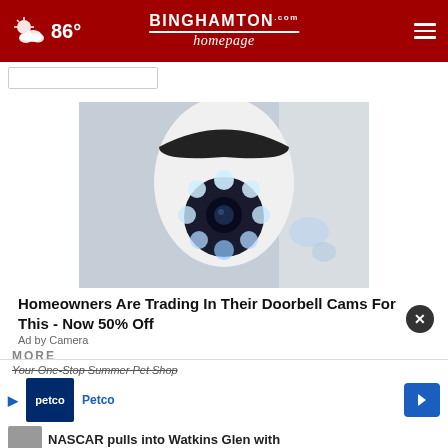86° BINGHAMTON homepage.com
[Figure (screenshot): A screenshot of the Binghamton Homepage website showing a security camera advertisement. The page has a dark red navigation bar at the top with weather (86°), the Binghamton Homepage logo, and a hamburger menu. Below is an image of a white dome-shaped security camera with blue LED lights, captioned 'Homeowners Are Trading In Their Doorbell Cams For This - Now 50% Off' with an 'Ad by Camera' attribution. At the bottom is a Petco advertisement banner and a partially visible NASCAR headline.]
Homeowners Are Trading In Their Doorbell Cams For This - Now 50% Off
Ad by Camera
MORE
Your One-Stop Summer Pet Shop
Petco
NASCAR pulls into Watkins Glen with